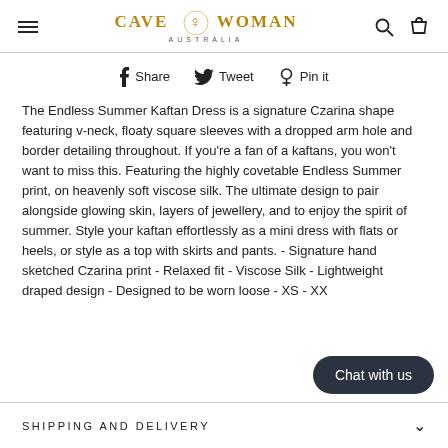CAVE WOMAN AUSTRALIA
Share  Tweet  Pin it
The Endless Summer Kaftan Dress is a signature Czarina shape featuring v-neck, floaty square sleeves with a dropped arm hole and border detailing throughout. If you're a fan of a kaftans, you won't want to miss this. Featuring the highly covetable Endless Summer print, on heavenly soft viscose silk. The ultimate design to pair alongside glowing skin, layers of jewellery, and to enjoy the spirit of summer. Style your kaftan effortlessly as a mini dress with flats or heels, or style as a top with skirts and pants. - Signature hand sketched Czarina print - Relaxed fit - Viscose Silk - Lightweight draped design - Designed to be worn loose - XS - XX
Chat with us
SHIPPING AND DELIVERY